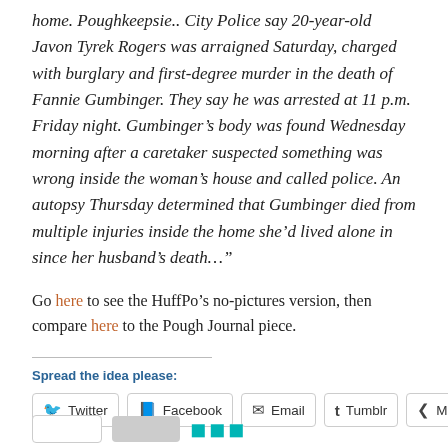home. Poughkeepsie.. City Police say 20-year-old Javon Tyrek Rogers was arraigned Saturday, charged with burglary and first-degree murder in the death of Fannie Gumbinger. They say he was arrested at 11 p.m. Friday night. Gumbinger's body was found Wednesday morning after a caretaker suspected something was wrong inside the woman's house and called police. An autopsy Thursday determined that Gumbinger died from multiple injuries inside the home she'd lived alone in since her husband's death…"
Go here to see the HuffPo's no-pictures version, then compare here to the Pough Journal piece.
Spread the idea please:
Twitter | Facebook | Email | Tumblr | More